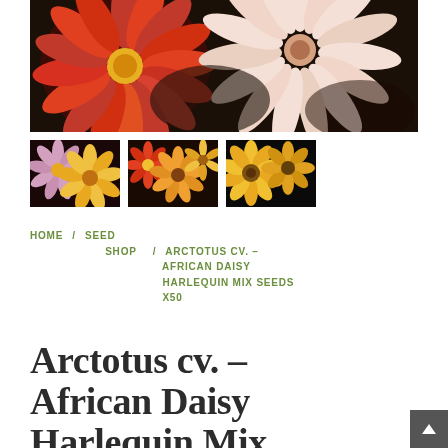[Figure (photo): Main large photo of colorful African daisy flowers — red/orange daisy on the left and pale pink/white daisy on the right, against a dark background]
[Figure (photo): Thumbnail 1: Mixed pink, yellow, and orange daisy flowers]
[Figure (photo): Thumbnail 2: Mixed red, orange, and yellow African daisy flowers]
[Figure (photo): Thumbnail 3: Yellow and orange sunflower-like daisy flowers]
HOME / SEED SHOP / ARCTOTUS CV. – AFRICAN DAISY HARLEQUIN MIX SEEDS X50
Arctotus cv. – African Daisy Harlequin Mix